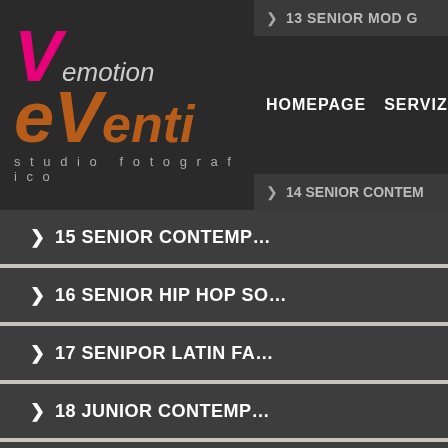[Figure (screenshot): Website header with Vemotion eVenti studio fotografico logo on dark background, navigation links: HOMEPAGE, SERVIZI, EV..., and menu items 13 SENIOR MOD G... and 14 SENIOR CONTEM...]
> 15 SENIOR CONTEMP...
> 16 SENIOR HIP HOP SO...
> 17 SENIPOR LATIN FA...
> 18 JUNIOR CONTEMP...
> 19 PREMIAZIONE RA...
> 20 PRIMI PIANI CO...
> 21 BABY CLA... D...